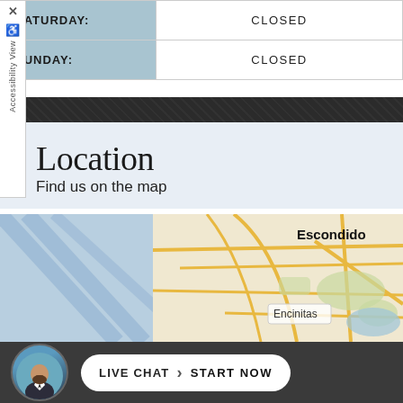| Day | Hours |
| --- | --- |
| SATURDAY: | CLOSED |
| SUNDAY: | CLOSED |
Location
Find us on the map
[Figure (map): Google map showing Escondido and Encinitas area in San Diego County, California]
LIVE CHAT › START NOW